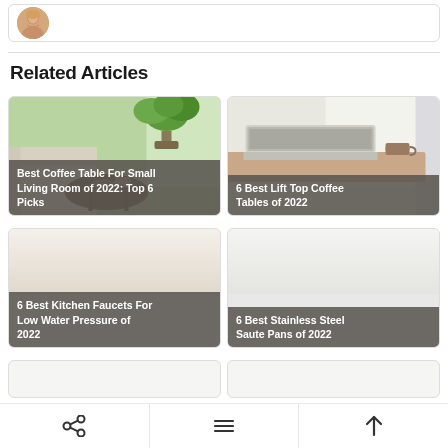[Figure (photo): Author avatar photo (woman with blonde hair, smiling) in a card with border]
Related Articles
[Figure (photo): Best Coffee Table For Small Living Room of 2022: Top 6 Picks — card with plant/room photo]
[Figure (photo): 6 Best Lift Top Coffee Tables of 2022 — card with laptop on table photo]
[Figure (photo): 6 Best Kitchen Faucets For Low Water Pressure of 2022 — card with light background]
[Figure (photo): 6 Best Stainless Steel Saute Pans of 2022 — card with light background]
[Figure (photo): Partial card row (two cards cut off at bottom)]